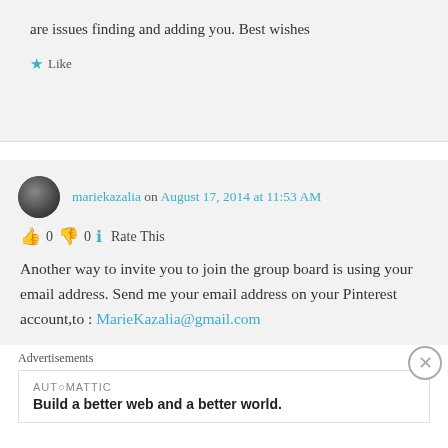are issues finding and adding you. Best wishes
Like
mariekazalia on August 17, 2014 at 11:53 AM
👍 0 👎 0 ℹ Rate This
Another way to invite you to join the group board is using your email address. Send me your email address on your Pinterest account,to : MarieKazalia@gmail.com
Advertisements
AUTOMATTIC
Build a better web and a better world.